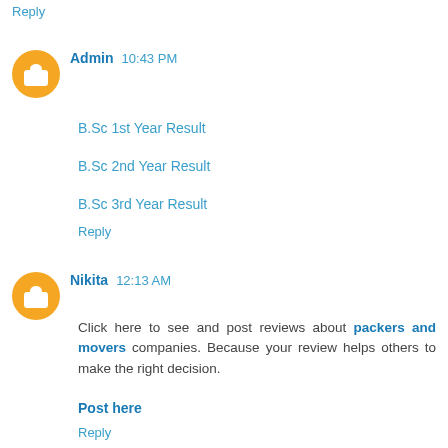Reply
Admin  10:43 PM
B.Sc 1st Year Result
B.Sc 2nd Year Result
B.Sc 3rd Year Result
Reply
Nikita  12:13 AM
Click here to see and post reviews about packers and movers companies. Because your review helps others to make the right decision.
Post here
Reply